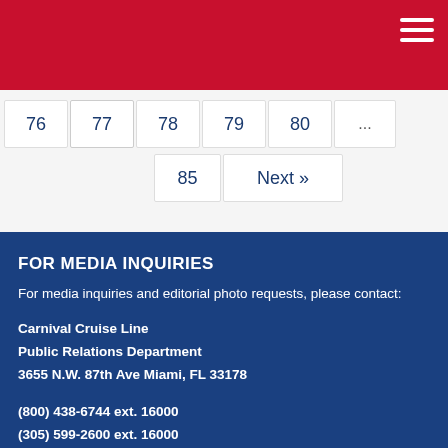76
77
78
79
80
...
85
Next »
FOR MEDIA INQUIRIES
For media inquiries and editorial photo requests, please contact:
Carnival Cruise Line
Public Relations Department
3655 N.W. 87th Ave Miami, FL 33178
(800) 438-6744 ext. 16000
(305) 599-2600 ext. 16000